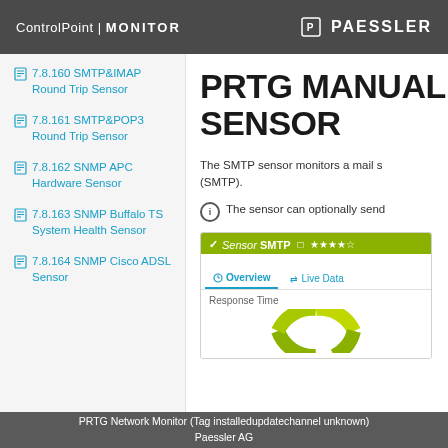ControlPoint | MONITOR   PAESSLER
7.8.160 SMTP&IMAP Round Trip Sensor
7.8.161 SMTP&POP3 Round Trip Sensor
7.8.162 SNMP APC Hardware Sensor
7.8.163 SNMP Buffalo TS System Health Sensor
7.8.164 SNMP Cisco ADSL Sensor
PRTG MANUAL SENSOR
The SMTP sensor monitors a mail s... (SMTP).
The sensor can optionally send...
[Figure (screenshot): Sensor widget showing SMTP sensor with OK status, Overview and Live Data tabs, Response Time label, and a partial donut chart in green/yellow-green]
PRTG Network Monitor (Tag installedupdatechannel unknown)
Paessler AG